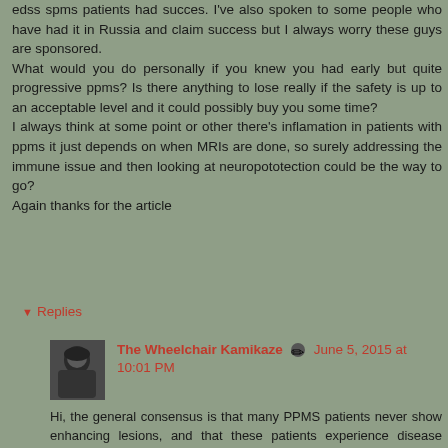edss spms patients had succes. I've also spoken to some people who have had it in Russia and claim success but I always worry these guys are sponsored. What would you do personally if you knew you had early but quite progressive ppms? Is there anything to lose really if the safety is up to an acceptable level and it could possibly buy you some time? I always think at some point or other there's inflamation in patients with ppms it just depends on when MRIs are done, so surely addressing the immune issue and then looking at neuropototection could be the way to go? Again thanks for the article
Reply
Replies
The Wheelchair Kamikaze
June 5, 2015 at 10:01 PM
Hi, the general consensus is that many PPMS patients never show enhancing lesions, and that these patients experience disease progression in the absence of inflammation. There is something